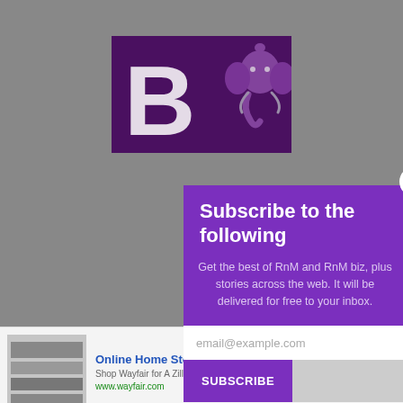[Figure (screenshot): Website background showing dark purple logo with letter R and elephant/Ganesha icon, gray background, navigation bar]
Subscribe to the following
Get the best of RnM and RnM biz, plus stories across the web. It will be delivered for free to your inbox.
[Figure (screenshot): Email input field with placeholder text email@example.com and SUBSCRIBE button]
[Figure (screenshot): Advertisement banner: Online Home Store for Furniture - Wayfair, Shop Wayfair for A Zillion Things Home across all styles, www.wayfair.com]
Online Home Store for Furniture
Shop Wayfair for A Zillion Things Home across all styles
www.wayfair.com